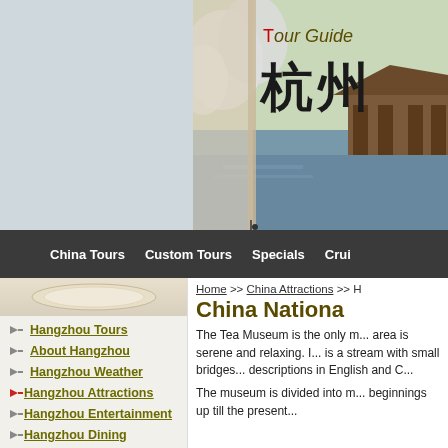[Figure (photo): Tour Guide header image showing Chinese characters for Hangzhou (杭州) over a scenic photo of a traditional Chinese pavilion by a lake with blooming white flowers and trees]
China Tours | Custom Tours | Specials | Crui...
[Figure (illustration): Decorative oval plate/dish illustration in the left panel top area]
Hangzhou Tours
About Hangzhou
Hangzhou Weather
Hangzhou Attractions
Hangzhou Entertainment
Hangzhou Dining
Hangzhou Shopping
Home >> China Attractions >> H...
China Nationa...
The Tea Museum is the only m... area is serene and relaxing. I... is a stream with small bridges... descriptions in English and C...
The museum is divided into m... beginnings up till the present...